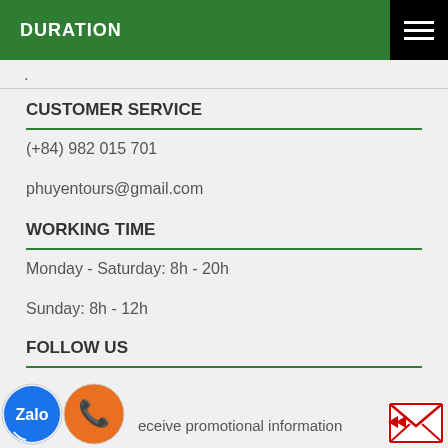DURATION
.
CUSTOMER SERVICE
(+84) 982 015 701
phuyentours@gmail.com
WORKING TIME
Monday - Saturday: 8h - 20h
Sunday: 8h - 12h
FOLLOW US
receive promotional information